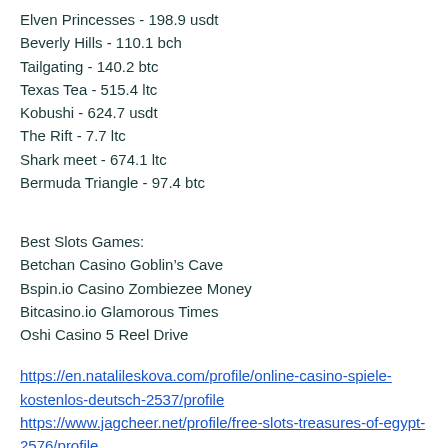Elven Princesses - 198.9 usdt
Beverly Hills - 110.1 bch
Tailgating - 140.2 btc
Texas Tea - 515.4 ltc
Kobushi - 624.7 usdt
The Rift - 7.7 ltc
Shark meet - 674.1 ltc
Bermuda Triangle - 97.4 btc
Best Slots Games:
Betchan Casino Goblin’s Cave
Bspin.io Casino Zombiezee Money
Bitcasino.io Glamorous Times
Oshi Casino 5 Reel Drive
https://en.natalileskova.com/profile/online-casino-spiele-kostenlos-deutsch-2537/profile
https://www.jagcheer.net/profile/free-slots-treasures-of-egypt-2576/profile
https://www.bronysbeachfront.com/profile/slo